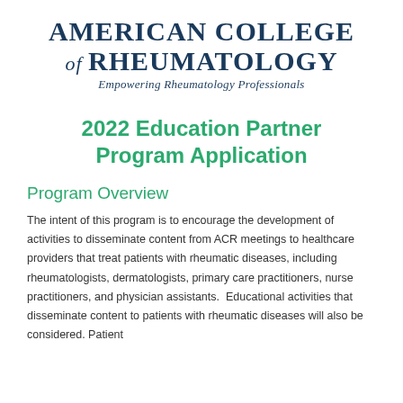[Figure (logo): American College of Rheumatology logo with text 'AMERICAN COLLEGE of RHEUMATOLOGY' and tagline 'Empowering Rheumatology Professionals']
2022 Education Partner Program Application
Program Overview
The intent of this program is to encourage the development of activities to disseminate content from ACR meetings to healthcare providers that treat patients with rheumatic diseases, including rheumatologists, dermatologists, primary care practitioners, nurse practitioners, and physician assistants.  Educational activities that disseminate content to patients with rheumatic diseases will also be considered. Patient